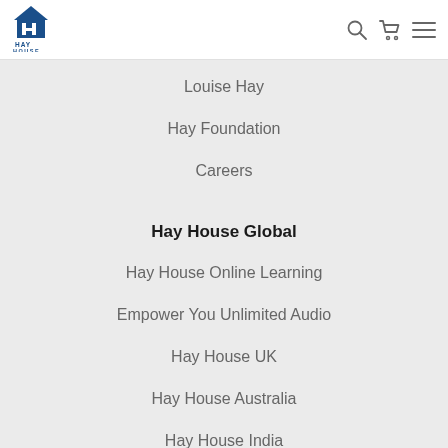[Figure (logo): Hay House logo — blue house icon with H letter, text HAY HOUSE below]
Louise Hay
Hay Foundation
Careers
Hay House Global
Hay House Online Learning
Empower You Unlimited Audio
Hay House UK
Hay House Australia
Hay House India
Customer Care